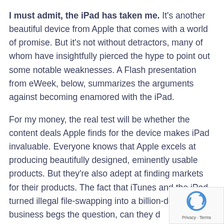I must admit, the iPad has taken me. It's another beautiful device from Apple that comes with a world of promise. But it's not without detractors, many of whom have insightfully pierced the hype to point out some notable weaknesses. A Flash presentation from eWeek, below, summarizes the arguments against becoming enamored with the iPad.
For my money, the real test will be whether the content deals Apple finds for the device makes iPad invaluable. Everyone knows that Apple excels at producing beautifully designed, eminently usable products. But they're also adept at finding markets for their products. The fact that iTunes and the iPod turned illegal file-swapping into a billion-dollar business begs the question, can they do the same thing for video and print publishing?